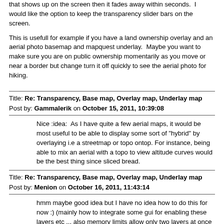that shows up on the screen then it fades away within seconds.  I would like the option to keep the transparency slider bars on the screen.
This is usefull for example if you have a land ownership overlay and an aerial photo basemap and mapquest underlay.  Maybe you want to make sure you are on public ownership momentarily as you move or near a border but change turn it off quickly to see the aerial photo for hiking.
Title: Re: Transparency, Base map, Overlay map, Underlay map
Post by: Gammalerik on October 15, 2011, 10:39:08
Nice :idea:  As I have quite a few aerial maps, it would be most useful to be able to display some sort of "hybrid" by overlaying i.e a streetmap or topo ontop. For instance, being able to mix an aerial with a topo to view altitude curves would be the best thing since sliced bread.
Title: Re: Transparency, Base map, Overlay map, Underlay map
Post by: Menion on October 16, 2011, 11:43:14
hmm maybe good idea but I have no idea how to do this for now :) (mainly how to integrate some gui for enabling these layers etc ... also memory limits allow only two layers at once ... and even this should avoid soon OutOfMemory error)